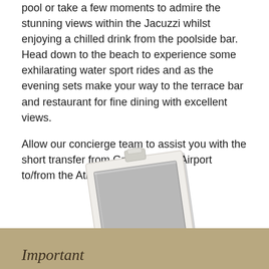pool or take a few moments to admire the stunning views within the Jacuzzi whilst enjoying a chilled drink from the poolside bar. Head down to the beach to experience some exhilarating water sport rides and as the evening sets make your way to the terrace bar and restaurant for fine dining with excellent views.
Allow our concierge team to assist you with the short transfer from Gran Canaria Airport to/from the Atlantic Beach Club.
[Figure (photo): A blank polaroid photo frame tilted slightly, with a white border and gray interior, and a small clip at the top.]
Important